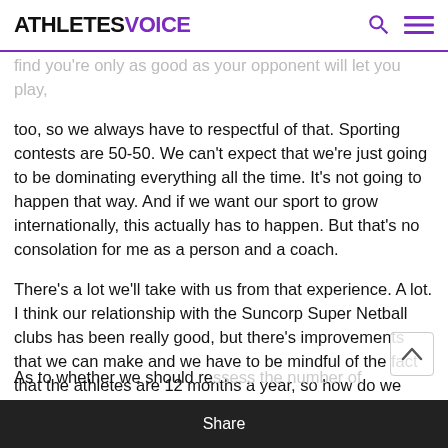ATHLETESVOICE
find you're only as good as your opponent will let you play, too, so we always have to respectful of that. Sporting contests are 50-50. We can't expect that we're just going to be dominating everything all the time. It's not going to happen that way. And if we want our sport to grow internationally, this actually has to happen. But that's no consolation for me as a person and a coach.
There's a lot we'll take with us from that experience. A lot. I think our relationship with the Suncorp Super Netball clubs has been really good, but there's improvements that we can make and we have to be mindful of the fact that the athletes are 12 months a year, so how do we manage that great complex system? We just want to get better at that. There's a lot of things we can work on.
As to whether we should reassess the number of